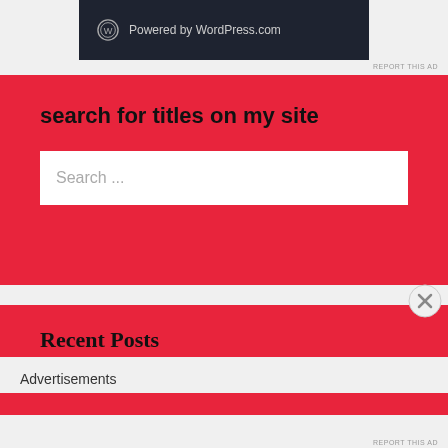[Figure (logo): WordPress.com logo with text 'Powered by WordPress.com' on dark background]
REPORT THIS AD
search for titles on my site
Search ...
Recent Posts
Advertisements
REPORT THIS AD